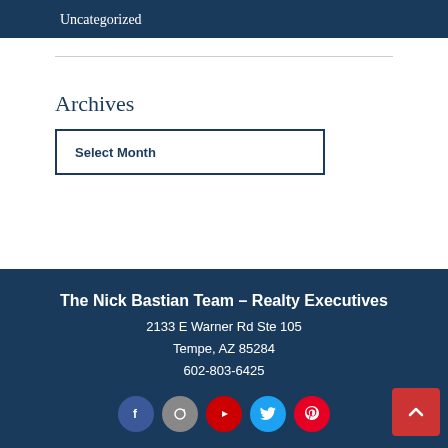Uncategorized
Archives
Select Month
The Nick Bastian Team – Realty Executives
2133 E Warner Rd Ste 105
Tempe, AZ 85284
602-803-6425